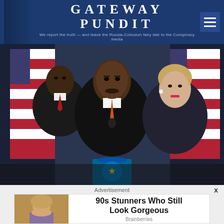GATEWAY PUNDIT — We report the truth — and leave the Russia-Collusion fairy tale to the Conspiracy media
[Figure (photo): Photo of three politicians at a press conference with American flags in background: Barack Obama on left, Eric Holder in center at microphone, Hillary Clinton on right]
America is in a terrible position. Lying corrupt Obama holdovers are running the country.
Advertisement
[Figure (photo): Advertisement: 90s Stunners Who Still Look Gorgeous — Brainberries. Shows a woman with 1990s style hair.]